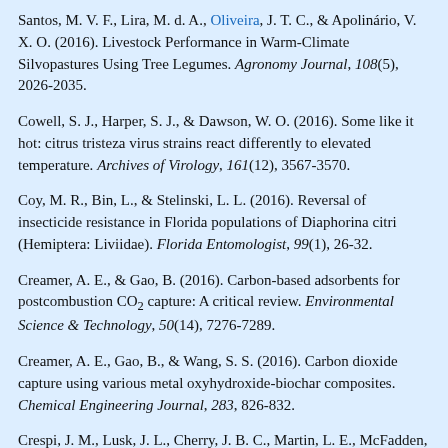Santos, M. V. F., Lira, M. d. A., Oliveira, J. T. C., & Apolinário, V. X. O. (2016). Livestock Performance in Warm-Climate Silvopastures Using Tree Legumes. Agronomy Journal, 108(5), 2026-2035.
Cowell, S. J., Harper, S. J., & Dawson, W. O. (2016). Some like it hot: citrus tristeza virus strains react differently to elevated temperature. Archives of Virology, 161(12), 3567-3570.
Coy, M. R., Bin, L., & Stelinski, L. L. (2016). Reversal of insecticide resistance in Florida populations of Diaphorina citri (Hemiptera: Liviidae). Florida Entomologist, 99(1), 26-32.
Creamer, A. E., & Gao, B. (2016). Carbon-based adsorbents for postcombustion CO2 capture: A critical review. Environmental Science & Technology, 50(14), 7276-7289.
Creamer, A. E., Gao, B., & Wang, S. S. (2016). Carbon dioxide capture using various metal oxyhydroxide-biochar composites. Chemical Engineering Journal, 283, 826-832.
Crespi, J. M., Lusk, J. L., Cherry, J. B. C., Martin, L. E., McFadden, B. R., & Bruce, A. S. (2016). Neural activations associated with decision time and choice in a milk labeling...